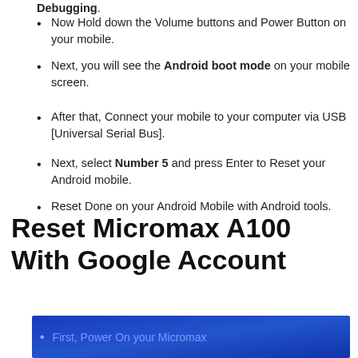Debugging.
Now Hold down the Volume buttons and Power Button on your mobile.
Next, you will see the Android boot mode on your mobile screen.
After that, Connect your mobile to your computer via USB [Universal Serial Bus].
Next, select Number 5 and press Enter to Reset your Android mobile.
Reset Done on your Android Mobile with Android tools.
Reset Micromax A100 With Google Account
[Figure (screenshot): Blue gradient box with partial bullet text: First, Power On your Micromax]